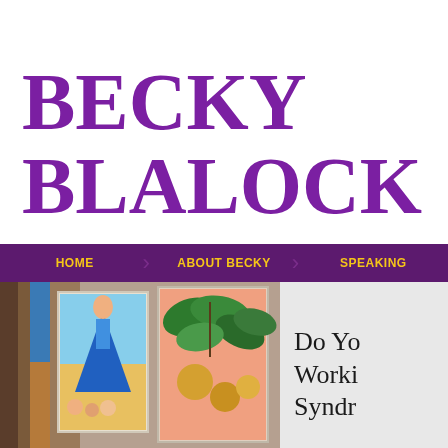BECKY BLALOCK
HOME | ABOUT BECKY | SPEAKING
[Figure (photo): Colorful children's paintings displayed on a surface, including paintings of a figure in blue, a tropical scene, and leaf motifs]
Do You Working Syndr